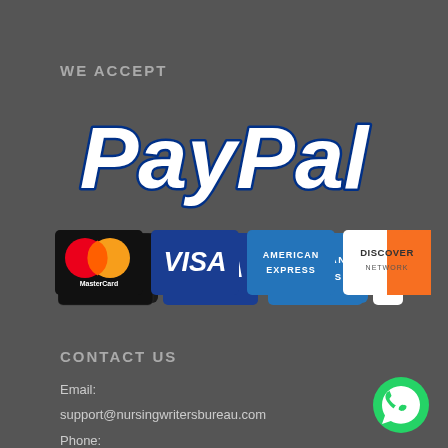WE ACCEPT
[Figure (logo): PayPal logo in large blue italic bold text with dark blue outline]
[Figure (infographic): Payment method logos: MasterCard, VISA, American Express, Discover Network]
CONTACT US
Email:
support@nursingwritersbureau.com
Phone:
[Figure (logo): WhatsApp green circle icon with phone handset]